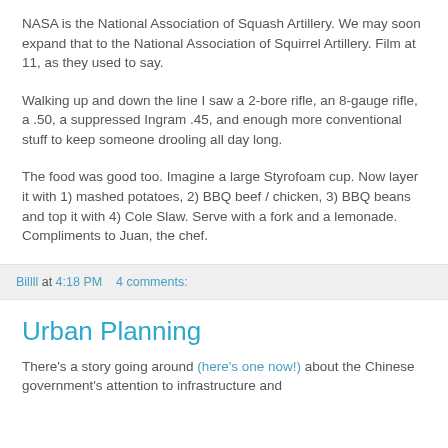NASA is the National Association of Squash Artillery. We may soon expand that to the National Association of Squirrel Artillery. Film at 11, as they used to say.
Walking up and down the line I saw a 2-bore rifle, an 8-gauge rifle, a .50, a suppressed Ingram .45, and enough more conventional stuff to keep someone drooling all day long.
The food was good too. Imagine a large Styrofoam cup. Now layer it with 1) mashed potatoes, 2) BBQ beef / chicken, 3) BBQ beans and top it with 4) Cole Slaw. Serve with a fork and a lemonade. Compliments to Juan, the chef.
Billll at 4:18 PM    4 comments:
Urban Planning
There's a story going around (here's one now!) about the Chinese government's attention to infrastructure and...